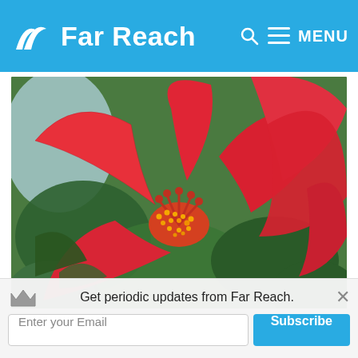Far Reach — MENU
extracted from an image and represents the most ... a mix of colors and saturation.
[Figure (photo): Close-up photograph of red hibiscus flowers with green foliage in the background and orange-yellow stamens visible]
Get periodic updates from Far Reach.
Enter your Email
Subscribe